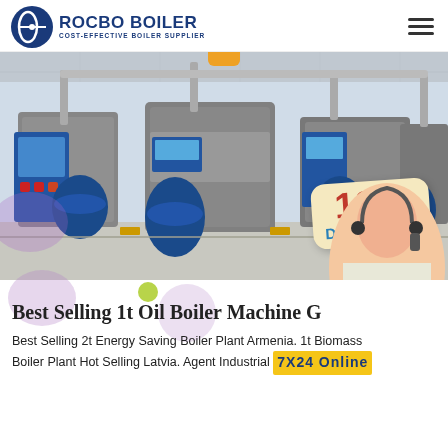[Figure (logo): ROCBO BOILER logo with circular emblem and text 'COST-EFFECTIVE BOILER SUPPLIER']
[Figure (photo): Industrial boiler machinery room with multiple blue and silver boiler units, control panels, pipes, and a 10% DISCOUNT badge overlay]
Best Selling 1t Oil Boiler Machine G
Best Selling 2t Energy Saving Boiler Plant Armenia. 1t Biomass Boiler Plant Hot Selling Latvia. Agent Industrial 7X24 Online